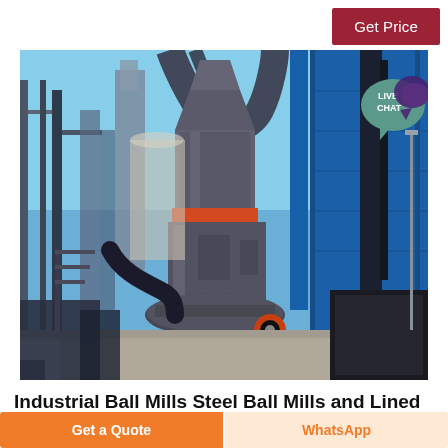Get Price
[Figure (photo): Industrial ball mill / grinding mill equipment photographed at an outdoor industrial facility. Large cylindrical grey metal mill in the center with pipes and blue steel structures around it, red accent band on the mill, shot against a clear blue sky.]
Industrial Ball Mills Steel Ball Mills and Lined
Get a Quote
WhatsApp